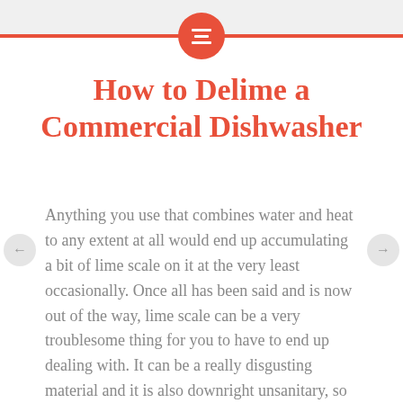How to Delime a Commercial Dishwasher
Anything you use that combines water and heat to any extent at all would end up accumulating a bit of lime scale on it at the very least occasionally. Once all has been said and is now out of the way, lime scale can be a very troublesome thing for you to have to end up dealing with. It can be a really disgusting material and it is also downright unsanitary, so it's easy to see why so many businesses are focused on getting rid of it without even the briefest of delays.